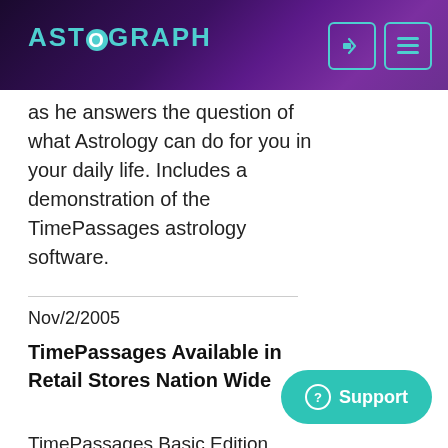ASTROGRAPH
as he answers the question of what Astrology can do for you in your daily life. Includes a demonstration of the TimePassages astrology software.
Nov/2/2005
TimePassages Available in Retail Stores Nation Wide
TimePassages Basic Edition version 4.2 is now available from your local Apple Store or Fry's